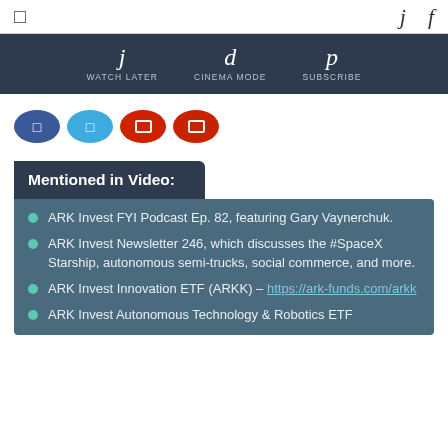[ ]  j  f
j WATCH LATER   d CINEMA MODE   p SUBSCRIBE
[Figure (other): Row of four social media icon buttons: Facebook (dark blue oval), Twitter (light blue oval), YouTube (dark red oval), YouTube (dark red oval)]
Mentioned in Video:
ARK Invest FYI Podcast Ep. 82, featuring Gary Vaynerchuk.
ARK Invest Newsletter 246, which discusses the #SpaceX Starship, autonomous semi-trucks, social commerce, and more.
ARK Invest Innovation ETF (ARKK) – https://ark-funds.com/arkk
ARK Invest Autonomous Technology & Robotics ETF